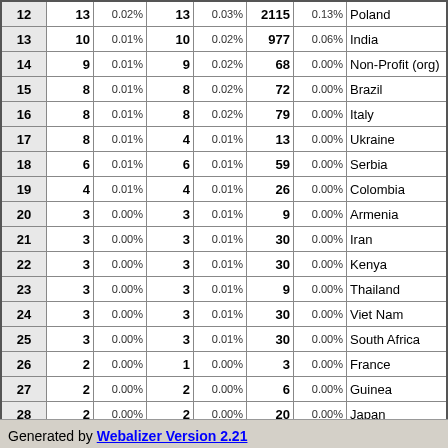| # | Hits | % | Files | % | KBytes | % | Country |
| --- | --- | --- | --- | --- | --- | --- | --- |
| 12 | 13 | 0.02% | 13 | 0.03% | 2115 | 0.13% | Poland |
| 13 | 10 | 0.01% | 10 | 0.02% | 977 | 0.06% | India |
| 14 | 9 | 0.01% | 9 | 0.02% | 68 | 0.00% | Non-Profit (org) |
| 15 | 8 | 0.01% | 8 | 0.02% | 72 | 0.00% | Brazil |
| 16 | 8 | 0.01% | 8 | 0.02% | 79 | 0.00% | Italy |
| 17 | 8 | 0.01% | 4 | 0.01% | 13 | 0.00% | Ukraine |
| 18 | 6 | 0.01% | 6 | 0.01% | 59 | 0.00% | Serbia |
| 19 | 4 | 0.01% | 4 | 0.01% | 26 | 0.00% | Colombia |
| 20 | 3 | 0.00% | 3 | 0.01% | 9 | 0.00% | Armenia |
| 21 | 3 | 0.00% | 3 | 0.01% | 30 | 0.00% | Iran |
| 22 | 3 | 0.00% | 3 | 0.01% | 30 | 0.00% | Kenya |
| 23 | 3 | 0.00% | 3 | 0.01% | 9 | 0.00% | Thailand |
| 24 | 3 | 0.00% | 3 | 0.01% | 30 | 0.00% | Viet Nam |
| 25 | 3 | 0.00% | 3 | 0.01% | 30 | 0.00% | South Africa |
| 26 | 2 | 0.00% | 1 | 0.00% | 3 | 0.00% | France |
| 27 | 2 | 0.00% | 2 | 0.00% | 6 | 0.00% | Guinea |
| 28 | 2 | 0.00% | 2 | 0.00% | 20 | 0.00% | Japan |
| 29 | 2 | 0.00% | 2 | 0.00% | 124 | 0.01% | Cambodia |
| 30 | 2 | 0.00% | 2 | 0.00% | 13 | 0.00% | Turkey |
Generated by Webalizer Version 2.21